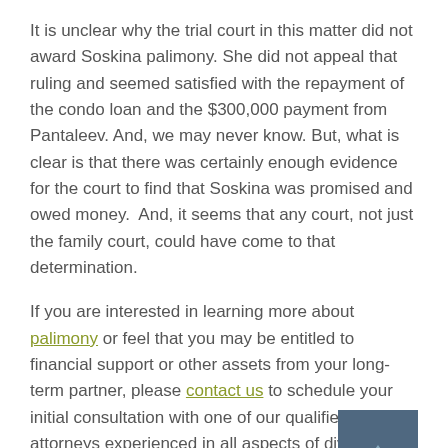It is unclear why the trial court in this matter did not award Soskina palimony. She did not appeal that ruling and seemed satisfied with the repayment of the condo loan and the $300,000 payment from Pantaleev. And, we may never know. But, what is clear is that there was certainly enough evidence for the court to find that Soskina was promised and owed money.  And, it seems that any court, not just the family court, could have come to that determination.
If you are interested in learning more about palimony or feel that you may be entitled to financial support or other assets from your long-term partner, please contact us to schedule your initial consultation with one of our qualified attorneys experienced in all aspects of divorce and family law in New Jersey.
[Figure (other): A dark blue/steel colored square button with an upward-pointing arrow, used as a scroll-to-top button.]
Read More:
Who Say It Was An Agreement? When Palimony Becomes